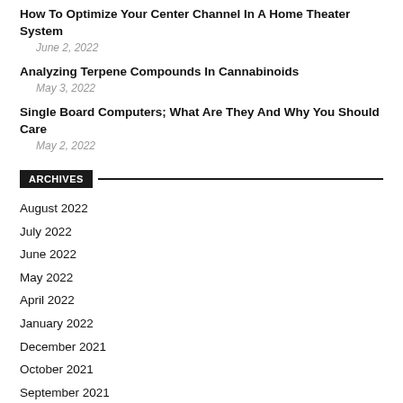How To Optimize Your Center Channel In A Home Theater System
June 2, 2022
Analyzing Terpene Compounds In Cannabinoids
May 3, 2022
Single Board Computers; What Are They And Why You Should Care
May 2, 2022
ARCHIVES
August 2022
July 2022
June 2022
May 2022
April 2022
January 2022
December 2021
October 2021
September 2021
August 2021
July 2021